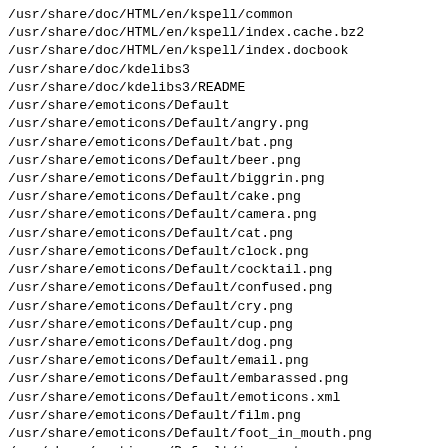/usr/share/doc/HTML/en/kspell/common
/usr/share/doc/HTML/en/kspell/index.cache.bz2
/usr/share/doc/HTML/en/kspell/index.docbook
/usr/share/doc/kdelibs3
/usr/share/doc/kdelibs3/README
/usr/share/emoticons/Default
/usr/share/emoticons/Default/angry.png
/usr/share/emoticons/Default/bat.png
/usr/share/emoticons/Default/beer.png
/usr/share/emoticons/Default/biggrin.png
/usr/share/emoticons/Default/cake.png
/usr/share/emoticons/Default/camera.png
/usr/share/emoticons/Default/cat.png
/usr/share/emoticons/Default/clock.png
/usr/share/emoticons/Default/cocktail.png
/usr/share/emoticons/Default/confused.png
/usr/share/emoticons/Default/cry.png
/usr/share/emoticons/Default/cup.png
/usr/share/emoticons/Default/dog.png
/usr/share/emoticons/Default/email.png
/usr/share/emoticons/Default/embarassed.png
/usr/share/emoticons/Default/emoticons.xml
/usr/share/emoticons/Default/film.png
/usr/share/emoticons/Default/foot_in_mouth.png
/usr/share/emoticons/Default/innocent.png
/usr/share/emoticons/Default/kiss.png
/usr/share/emoticons/Default/lightbulb.png
/usr/share/emoticons/Default/love.png
/usr/share/emoticons/Default/note.png
/usr/share/emoticons/Default/oh.png